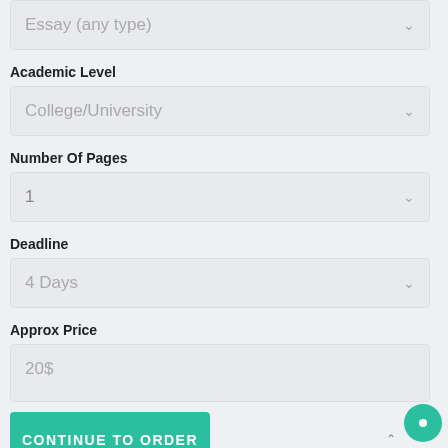Essay (any type)
Academic Level
College/University
Number Of Pages
1
Deadline
4 Days
Approx Price
20$
CONTINUE TO ORDER